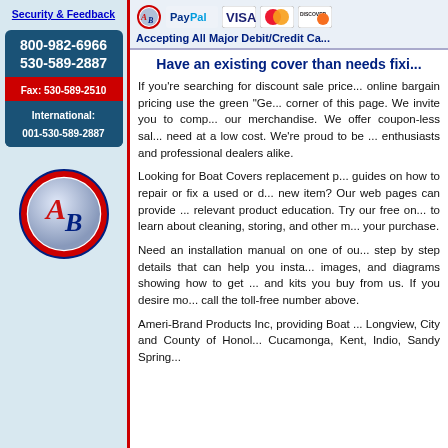Security & Feedback
800-982-6966
530-589-2887
Fax: 530-589-2510
International: 001-530-589-2887
[Figure (logo): AB Ameri-Brand circular logo with red and blue colors]
[Figure (logo): Payment logos: AB logo, PayPal, Visa, MasterCard, Discover]
Accepting All Major Debit/Credit Ca...
Have an existing cover than needs fixi...
If you're searching for discount sale price... online bargain pricing use the green "Ge... corner of this page. We invite you to comp... our merchandise. We offer coupon-less sal... need at a low cost. We're proud to be ... enthusiasts and professional dealers alike.
Looking for Boat Covers replacement p... guides on how to repair or fix a used or ... new item? Our web pages can provide ... relevant product education. Try our free on... to learn about cleaning, storing, and other ... your purchase.
Need an installation manual on one of ou... step by step details that can help you insta... images, and diagrams showing how to get ... and kits you buy from us. If you desire mo... call the toll-free number above.
Ameri-Brand Products Inc, providing Boat ... Longview, City and County of Honol... Cucamonga, Kent, Indio, Sandy Spring...